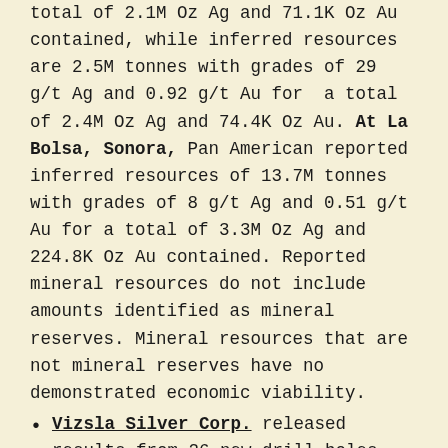total of 2.1M Oz Ag and 71.1K Oz Au contained, while inferred resources are 2.5M tonnes with grades of 29 g/t Ag and 0.92 g/t Au for a total of 2.4M Oz Ag and 74.4K Oz Au. At La Bolsa, Sonora, Pan American reported inferred resources of 13.7M tonnes with grades of 8 g/t Ag and 0.51 g/t Au for a total of 3.3M Oz Ag and 224.8K Oz Au contained. Reported mineral resources do not include amounts identified as mineral reserves. Mineral resources that are not mineral reserves have no demonstrated economic viability.
Vizsla Silver Corp. released results from 26 new drill holes targeting the Tajitos-Copala resource area at its 100%-owned flagship Panuco project in Sinaloa. Drilling highlights